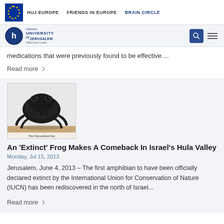HUJ EUROPE   FRIENDS IN EUROPE   BRAIN CIRCLE
[Figure (logo): Hebrew University of Jerusalem logo with circular emblem]
medications that were previously found to be effective....
Read more
[Figure (photo): The Hula painted frog — a dark frog photographed against a light background]
An 'Extinct' Frog Makes A Comeback In Israel's Hula Valley
Monday, Jul 15, 2013
Jerusalem, June 4, 2013 – The first amphibian to have been officially declared extinct by the International Union for Conservation of Nature (IUCN) has been rediscovered in the north of Israel...
Read more